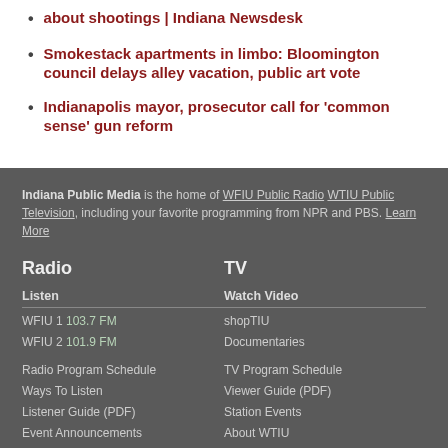about shootings | Indiana Newsdesk
Smokestack apartments in limbo: Bloomington council delays alley vacation, public art vote
Indianapolis mayor, prosecutor call for 'common sense' gun reform
Indiana Public Media is the home of WFIU Public Radio WTIU Public Television, including your favorite programming from NPR and PBS. Learn More
Radio
TV
Listen
WFIU 1 103.7 FM
WFIU 2 101.9 FM
Watch Video
shopTIU
Documentaries
Radio Program Schedule
Ways To Listen
Listener Guide (PDF)
Event Announcements
About WFIU
TV Program Schedule
Viewer Guide (PDF)
Station Events
About WTIU